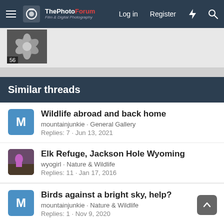ThePhotoForum - Film & Digital Photography | Log in | Register
[Figure (photo): Thumbnail photo of a flower, with count label '56']
Similar threads
Wildlife abroad and back home - mountainjunkie · General Gallery - Replies: 7 · Jun 13, 2021
Elk Refuge, Jackson Hole Wyoming - wyogirl · Nature & Wildlife - Replies: 11 · Jan 17, 2016
Birds against a bright sky, help? - mountainjunkie · Nature & Wildlife - Replies: 1 · Nov 9, 2020
Stormy Milky Way